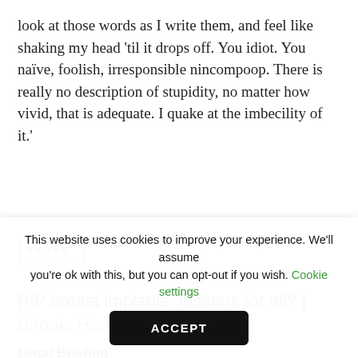look at those words as I write them, and feel like shaking my head 'til it drops off. You idiot. You naïve, foolish, irresponsible nincompoop. There is really no description of stupidity, no matter how vivid, that is adequate. I quake at the imbecility of it.'
[Figure (logo): Shook Hardy & Bacon law firm logo with amber vertical bars flanking the text]
PIP breast implants: lessons for all? | Shook, Hardy & Bacon
Legal Briefing
This website uses cookies to improve your experience. We'll assume you're ok with this, but you can opt-out if you wish. Cookie settings